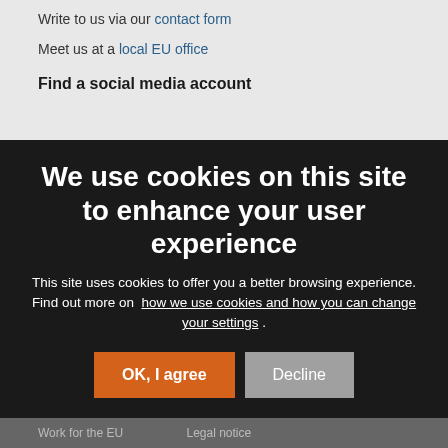Write to us via our contact form
Meet us at a local EU office
Find a social media account
Search for EU social media channels
EU ...
Search for EU institutions
Last published ...
Work for the EU    Legal notice
We use cookies on this site to enhance your user experience
This site uses cookies to offer you a better browsing experience. Find out more on how we use cookies and how you can change your settings .
OK, I agree   Decline